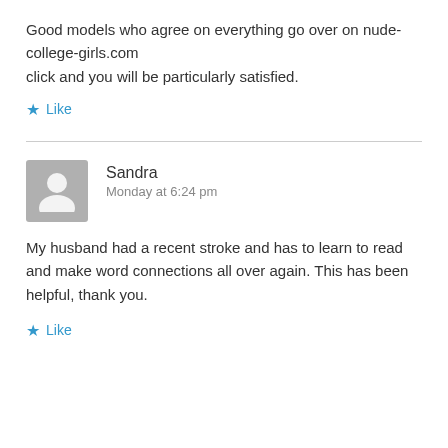Good models who agree on everything go over on nude-college-girls.com
click and you will be particularly satisfied.
Like
Sandra
Monday at 6:24 pm
My husband had a recent stroke and has to learn to read and make word connections all over again. This has been helpful, thank you.
Like